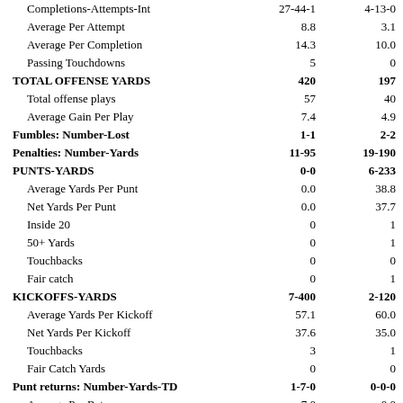| Stat | Team1 | Team2 |
| --- | --- | --- |
| Completions-Attempts-Int | 27-44-1 | 4-13-0 |
| Average Per Attempt | 8.8 | 3.1 |
| Average Per Completion | 14.3 | 10.0 |
| Passing Touchdowns | 5 | 0 |
| TOTAL OFFENSE YARDS | 420 | 197 |
| Total offense plays | 57 | 40 |
| Average Gain Per Play | 7.4 | 4.9 |
| Fumbles: Number-Lost | 1-1 | 2-2 |
| Penalties: Number-Yards | 11-95 | 19-190 |
| PUNTS-YARDS | 0-0 | 6-233 |
| Average Yards Per Punt | 0.0 | 38.8 |
| Net Yards Per Punt | 0.0 | 37.7 |
| Inside 20 | 0 | 1 |
| 50+ Yards | 0 | 1 |
| Touchbacks | 0 | 0 |
| Fair catch | 0 | 1 |
| KICKOFFS-YARDS | 7-400 | 2-120 |
| Average Yards Per Kickoff | 57.1 | 60.0 |
| Net Yards Per Kickoff | 37.6 | 35.0 |
| Touchbacks | 3 | 1 |
| Fair Catch Yards | 0 | 0 |
| Punt returns: Number-Yards-TD | 1-7-0 | 0-0-0 |
| Average Per Return | 7.0 | 0.0 |